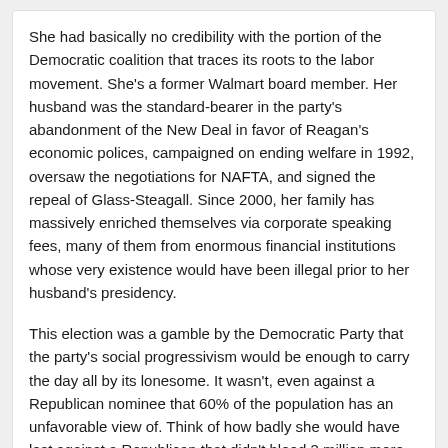She had basically no credibility with the portion of the Democratic coalition that traces its roots to the labor movement. She's a former Walmart board member. Her husband was the standard-bearer in the party's abandonment of the New Deal in favor of Reagan's economic polices, campaigned on ending welfare in 1992, oversaw the negotiations for NAFTA, and signed the repeal of Glass-Steagall. Since 2000, her family has massively enriched themselves via corporate speaking fees, many of them from enormous financial institutions whose very existence would have been illegal prior to her husband's presidency.
This election was a gamble by the Democratic Party that the party's social progressivism would be enough to carry the day all by its lonesome. It wasn't, even against a Republican nominee that 60% of the population has an unfavorable view of. Think of how badly she would have lost against a Republican that didn't bleed 3 million more votes to the Libertarian Party than Romney. I really hope the Democratic party leadership does some soul-searching after this.
Problem Machine